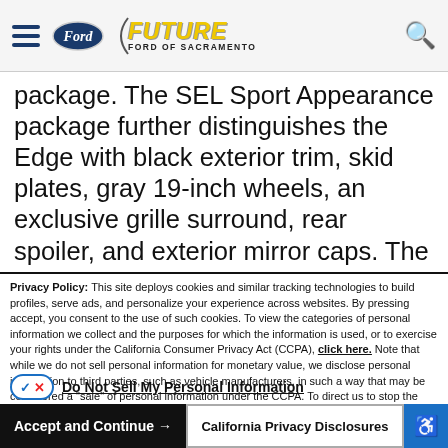Future Ford of Sacramento — site header with hamburger menu, Ford oval logo, Future Ford of Sacramento logo, and search icon
package. The SEL Sport Appearance package further distinguishes the Edge with black exterior trim, skid plates, gray 19-inch wheels, an exclusive grille surround, rear spoiler, and exterior mirror caps. The Safe and Smart package adds value to the SUV and includes
Privacy Policy: This site deploys cookies and similar tracking technologies to build profiles, serve ads, and personalize your experience across websites. By pressing accept, you consent to the use of such cookies. To view the categories of personal information we collect and the purposes for which the information is used, or to exercise your rights under the California Consumer Privacy Act (CCPA), click here. Note that while we do not sell personal information for monetary value, we disclose personal information to third parties, such as vehicle manufacturers, in such a way that may be considered a "sale" of personal information under the CCPA. To direct us to stop the sale of your personal information, or to re-access these settings or disclosures at anytime, click the following icon or link:
Do Not Sell My Personal Information
Language: English    Powered by ComplyAuto
Accept and Continue →   California Privacy Disclosures